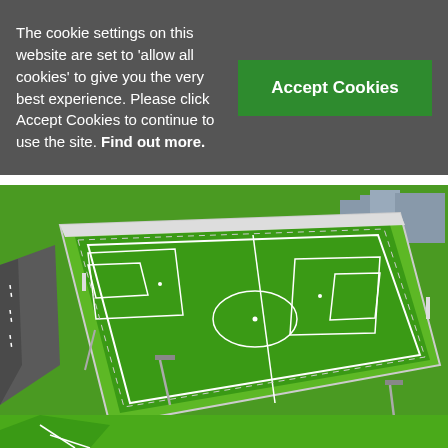The cookie settings on this website are set to 'allow all cookies' to give you the very best experience. Please click Accept Cookies to continue to use the site. Find out more.
[Figure (illustration): Green button labeled 'Accept Cookies']
[Figure (photo): Aerial 3D rendered view of a full-size football (soccer) pitch with white line markings, floodlights, surrounded by green grass, a road on the left, and buildings/trees in the background top right.]